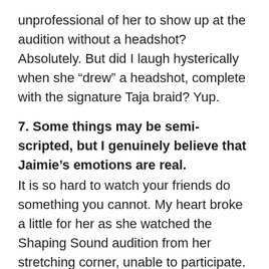unprofessional of her to show up at the audition without a headshot? Absolutely. But did I laugh hysterically when she “drew” a headshot, complete with the signature Taja braid? Yup.
7. Some things may be semi-scripted, but I genuinely believe that Jaimie’s emotions are real.
It is so hard to watch your friends do something you cannot. My heart broke a little for her as she watched the Shaping Sound audition from her stretching corner, unable to participate.
.
8. Kyle is so hot.
Just so, so good-looking.